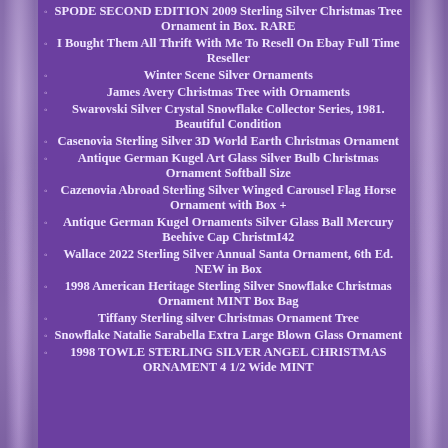SPODE SECOND EDITION 2009 Sterling Silver Christmas Tree Ornament in Box. RARE
I Bought Them All Thrift With Me To Resell On Ebay Full Time Reseller
Winter Scene Silver Ornaments
James Avery Christmas Tree with Ornaments
Swarovski Silver Crystal Snowflake Collector Series, 1981. Beautiful Condition
Casenovia Sterling Silver 3D World Earth Christmas Ornament
Antique German Kugel Art Glass Silver Bulb Christmas Ornament Softball Size
Cazenovia Abroad Sterling Silver Winged Carousel Flag Horse Ornament with Box +
Antique German Kugel Ornaments Silver Glass Ball Mercury Beehive Cap ChristmI42
Wallace 2022 Sterling Silver Annual Santa Ornament, 6th Ed. NEW in Box
1998 American Heritage Sterling Silver Snowflake Christmas Ornament MINT Box Bag
Tiffany Sterling silver Christmas Ornament Tree
Snowflake Natalie Sarabella Extra Large Blown Glass Ornament
1998 TOWLE STERLING SILVER ANGEL CHRISTMAS ORNAMENT 4 1/2 Wide MINT